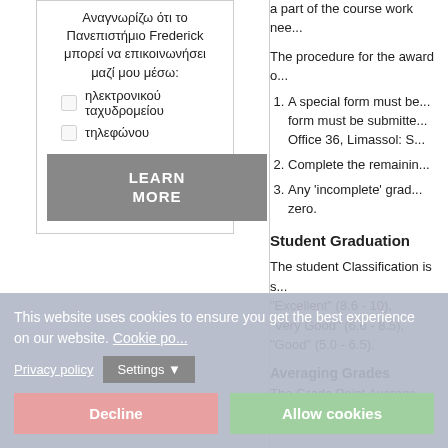Αναγνωρίζω ότι το Πανεπιστήμιο Frederick μπορεί να επικοινωνήσει μαζί μου μέσω:
ηλεκτρονικού ταχυδρομείου
τηλεφώνου
LEARN MORE
a part of the course work nee...
The procedure for the award o...
A special form must be... form must be submitte... Office 36, Limassol: S...
Complete the remainin...
Any 'incomplete' grad... zero.
Student Graduation
The student Classification is s... "Excellent" (8.6 - 10), "Very Good" (6.6 - 8.5), "Good" (5.0 - 6.5).
Averaging Grades
The Grade Point Average (G.P...
This website uses cookies to ensure you get the best experience on our website. Cookie po...
Privacy policy
Settings ▼
Decline
Allow cookies